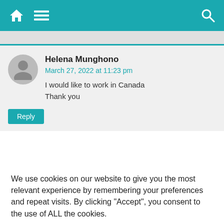Navigation bar with home, menu, and search icons
Helena Munghono
March 27, 2022 at 11:23 pm
I would like to work in Canada
Thank you
We use cookies on our website to give you the most relevant experience by remembering your preferences and repeat visits. By clicking “Accept”, you consent to the use of ALL the cookies.
Reject.
Cookie Settings  Accept